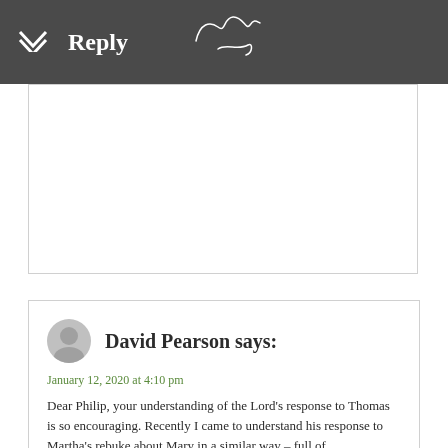Reply
[Figure (illustration): Handwritten signature reading 'Philip Long' with a swooping underline]
David Pearson says:
January 12, 2020 at 4:10 pm
Dear Philip, your understanding of the Lord's response to Thomas is so encouraging. Recently I came to understand his response to Martha's rebuke about Mary in a similar way – full of compassionate correction and not any